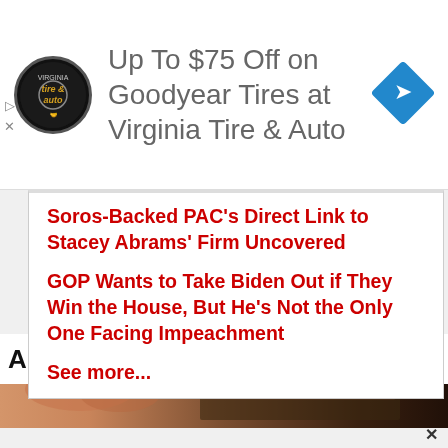[Figure (logo): Virginia Tire & Auto circular logo with car and handshake icon]
Up To $75 Off on Goodyear Tires at Virginia Tire & Auto
[Figure (logo): Blue diamond navigation/directions icon]
Soros-Backed PAC's Direct Link to Stacey Abrams' Firm Uncovered
GOP Wants to Take Biden Out if They Win the House, But He's Not the Only One Facing Impeachment
See more...
Advertisement
AROUND THE WEB
[Figure (logo): Taboola logo - green and teal square icon]
[Figure (photo): Close-up of fingers holding a wallet or billfold]